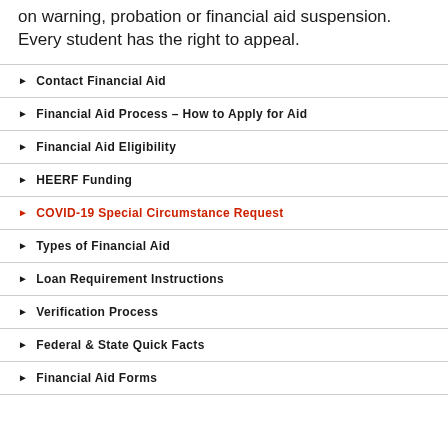on warning, probation or financial aid suspension. Every student has the right to appeal.
Contact Financial Aid
Financial Aid Process – How to Apply for Aid
Financial Aid Eligibility
HEERF Funding
COVID-19 Special Circumstance Request
Types of Financial Aid
Loan Requirement Instructions
Verification Process
Federal & State Quick Facts
Financial Aid Forms